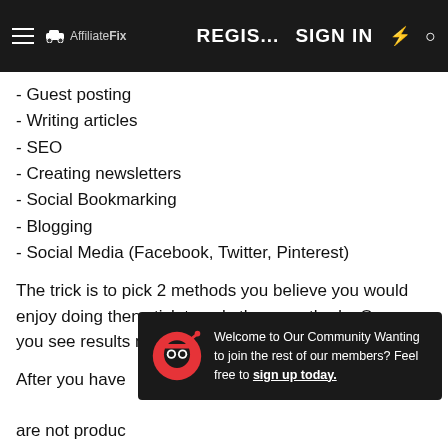REGIS... SIGN IN
- Guest posting
- Writing articles
- SEO
- Creating newsletters
- Social Bookmarking
- Blogging
- Social Media (Facebook, Twitter, Pinterest)
The trick is to pick 2 methods you believe you would enjoy doing then stick to only those methods. Once you see results move to to 2 new methods.
After you have [obscured by popup] are not produc[obscured by popup]
[Figure (infographic): Popup overlay with ninja mascot icon and welcome message: Welcome to Our Community Wanting to join the rest of our members? Feel free to sign up today.]
I personally have found forum marketing to be the easiest way to market for complete beginners. After that I would